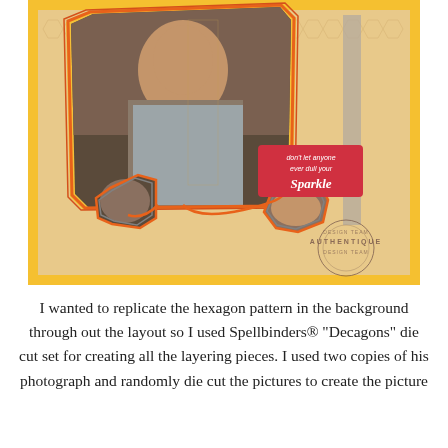[Figure (photo): A scrapbook layout featuring a young man's portrait in the center with his arms crossed, framed by yellow/orange octagonal/decagon die-cut shapes on a honeycomb-patterned background paper. Two smaller circular/octagonal photo cutouts show detail shots of his hands/arms. A red label reads 'don't let anyone ever dull your SPARKLE'. An Authentique Design Team stamp logo appears in the lower right corner.]
I wanted to replicate the hexagon pattern in the background through out the layout so I used Spellbinders® "Decagons" die cut set for creating all the layering pieces.  I used two copies of his photograph and randomly die cut the pictures to create the picture